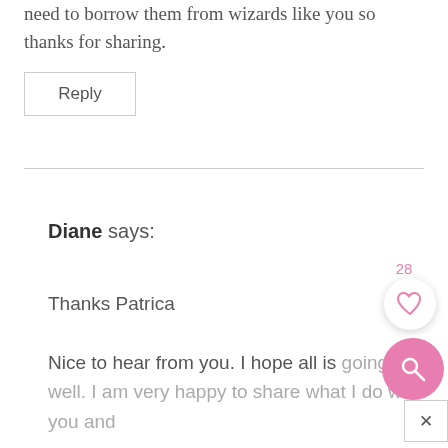need to borrow them from wizards like you so thanks for sharing.
Reply
Diane says:
Thanks Patrica
Nice to hear from you. I hope all is going well. I am very happy to share what I do with you and